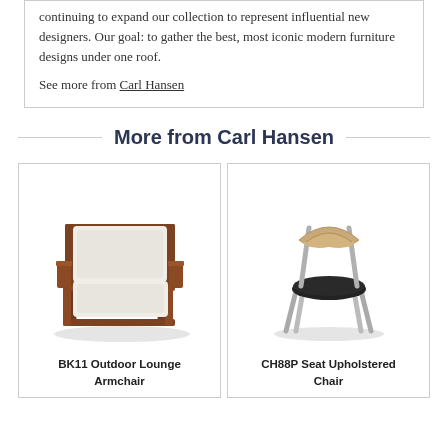continuing to expand our collection to represent influential new designers. Our goal: to gather the best, most iconic modern furniture designs under one roof.
See more from Carl Hansen
More from Carl Hansen
[Figure (photo): BK11 Outdoor Lounge Armchair – a modern lounge chair with a walnut-colored geometric wooden frame and white cushions]
BK11 Outdoor Lounge Armchair
[Figure (photo): CH88P Seat Upholstered Chair – a modern dining chair with a natural wood backrest, chrome steel legs, and a black upholstered seat]
CH88P Seat Upholstered Chair